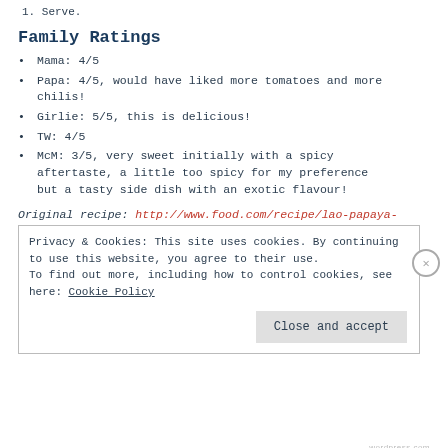1. Serve.
Family Ratings
Mama: 4/5
Papa: 4/5, would have liked more tomatoes and more chilis!
Girlie: 5/5, this is delicious!
TW: 4/5
McM: 3/5, very sweet initially with a spicy aftertaste, a little too spicy for my preference but a tasty side dish with an exotic flavour!
Original recipe: http://www.food.com/recipe/lao-papaya-
Privacy & Cookies: This site uses cookies. By continuing to use this website, you agree to their use. To find out more, including how to control cookies, see here: Cookie Policy
Close and accept